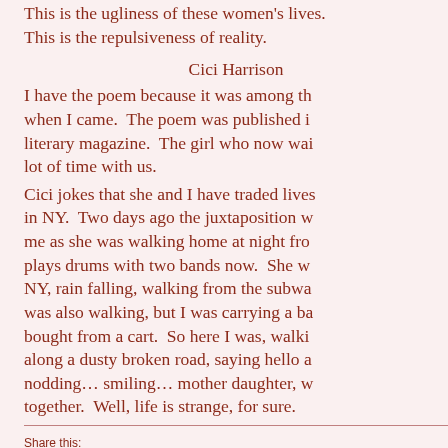This is the ugliness of these women's lives. This is the repulsiveness of reality.
Cici Harrison
I have the poem because it was among th when I came.  The poem was published i literary magazine.  The girl who now wai lot of time with us.
Cici jokes that she and I have traded lives in NY.  Two days ago the juxtaposition w me as she was walking home at night fro plays drums with two bands now.  She w NY, rain falling, walking from the subwa was also walking, but I was carrying a ba bought from a cart.  So here I was, walki along a dusty broken road, saying hello a nodding… smiling… mother daughter, w together.  Well, life is strange, for sure.
Share this:
Tweet   Email   Print